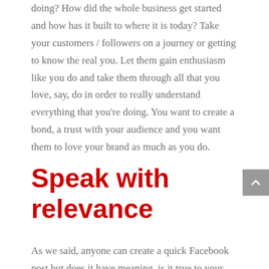doing? How did the whole business get started and how has it built to where it is today? Take your customers / followers on a journey or getting to know the real you. Let them gain enthusiasm like you do and take them through all that you love, say, do in order to really understand everything that you're doing. You want to create a bond, a trust with your audience and you want them to love your brand as much as you do.
Speak with relevance
As we said, anyone can create a quick Facebook post but does it have meaning, is it true to your